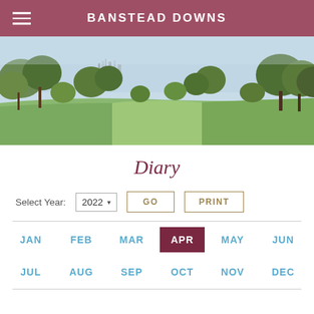BANSTEAD DOWNS
[Figure (photo): Panoramic view of Banstead Downs golf course with green fairway, trees on both sides, and London skyline visible in the background under a blue sky.]
Diary
Select Year: 2022  GO  PRINT
JAN  FEB  MAR  APR  MAY  JUN
JUL  AUG  SEP  OCT  NOV  DEC